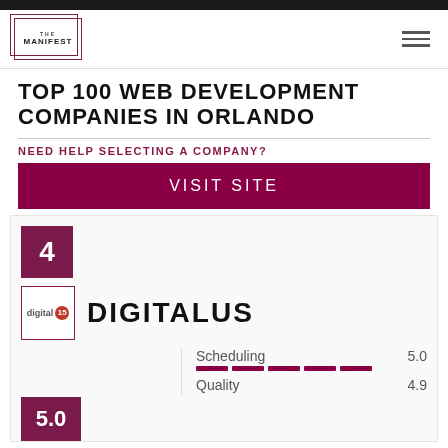THE MANIFEST
TOP 100 WEB DEVELOPMENT COMPANIES IN ORLANDO
NEED HELP SELECTING A COMPANY?
VISIT SITE
4
DIGITALUS
Scheduling 5.0
Quality 4.9
5.0